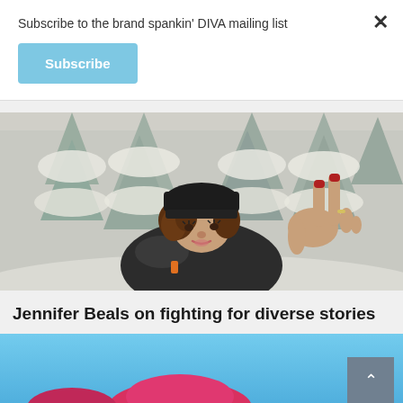Subscribe to the brand spankin' DIVA mailing list
×
Subscribe
[Figure (photo): Woman in black knit beanie and black puffer jacket making a peace sign with her hand, standing outdoors in a snowy winter forest setting with snow-covered trees in background. She has curly brown hair and red nail polish.]
Jennifer Beals on fighting for diverse stories
[Figure (photo): Partial view of a photo with bright blue sky background and a figure in pink/red clothing, cropped at the bottom of the page.]